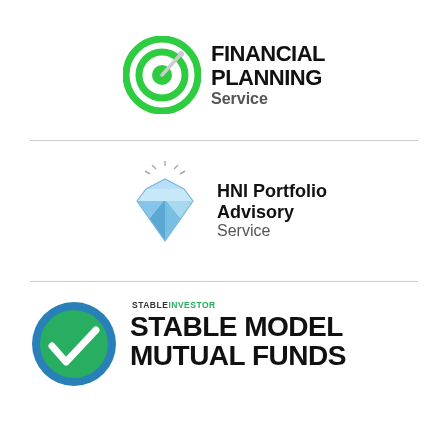[Figure (logo): Financial Planning Service logo: green target/dartboard icon with needle, bold black text 'FINANCIAL PLANNING' and grey 'Service']
[Figure (logo): HNI Portfolio Advisory Service logo: blue diamond gem icon with sparkles, bold black text 'HNI Portfolio Advisory' and grey 'Service']
[Figure (logo): Stable Model Mutual Funds logo: blue circle with green checkmark icon, small text 'STABLEINVESTOR' above bold black 'STABLE MODEL MUTUAL FUNDS']